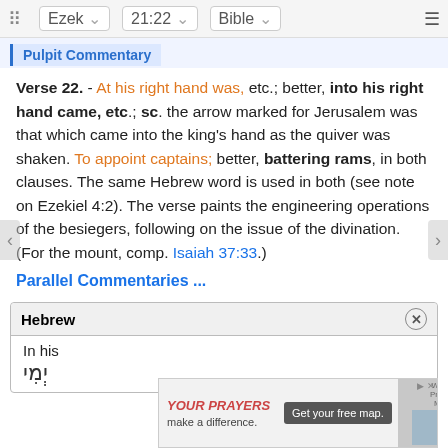Ezek 21:22 Bible
Pulpit Commentary
Verse 22. - At his right hand was, etc.; better, into his right hand came, etc.; sc. the arrow marked for Jerusalem was that which came into the king's hand as the quiver was shaken. To appoint captains; better, battering rams, in both clauses. The same Hebrew word is used in both (see note on Ezekiel 4:2). The verse paints the engineering operations of the besiegers, following on the issue of the divination. (For the mount, comp. Isaiah 37:33.)
Parallel Commentaries ...
Hebrew
In his
יְמִי